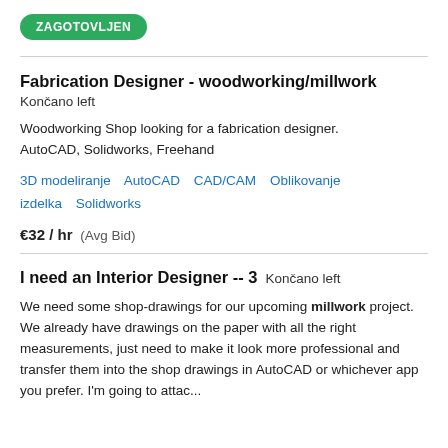ZAGOTOVLJEN
Fabrication Designer - woodworking/millwork
Končano left
Woodworking Shop looking for a fabrication designer. AutoCAD, Solidworks, Freehand
3D modeliranje   AutoCAD   CAD/CAM   Oblikovanje izdelka   Solidworks
€32 / hr  (Avg Bid)
I need an Interior Designer -- 3  Končano left
We need some shop-drawings for our upcoming millwork project. We already have drawings on the paper with all the right measurements, just need to make it look more professional and transfer them into the shop drawings in AutoCAD or whichever app you prefer. I'm going to attac...